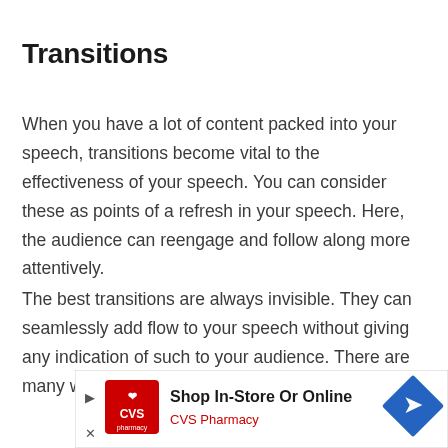Transitions
When you have a lot of content packed into your speech, transitions become vital to the effectiveness of your speech. You can consider these as points of a refresh in your speech. Here, the audience can reengage and follow along more attentively.
The best transitions are always invisible. They can seamlessly add flow to your speech without giving any indication of such to your audience. There are many ways to incorporate this into your speech.
[Figure (other): CVS Pharmacy advertisement banner: Shop In-Store Or Online, with CVS Pharmacy logo and navigation arrow icon]